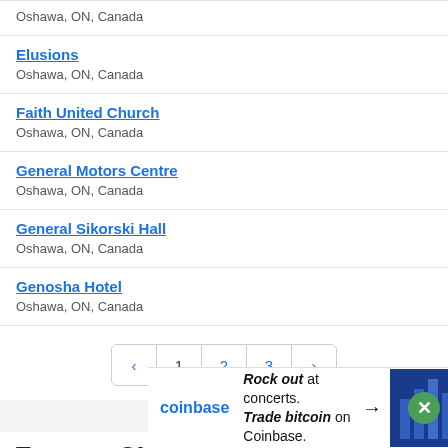Oshawa, ON, Canada
Elusions
Oshawa, ON, Canada
Faith United Church
Oshawa, ON, Canada
General Motors Centre
Oshawa, ON, Canada
General Sikorski Hall
Oshawa, ON, Canada
Genosha Hotel
Oshawa, ON, Canada
< 1 2 3 >
Toronto, ON, Canada venues
[Figure (screenshot): Coinbase advertisement banner: 'Rock out at concerts. Trade bitcoin on Coinbase.' with arrow and coin graphic on blue background]
Hahno...